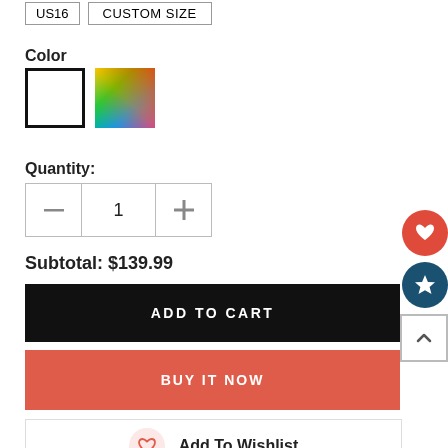US16   CUSTOM SIZE
Color
[Figure (illustration): Two color swatches: a white square with black border and a rainbow/multicolor square]
Quantity:
[Figure (other): Quantity selector with minus button, 1 in middle input, plus button]
Subtotal: $139.99
[Figure (other): Black ADD TO CART button]
[Figure (other): Red/coral BUY IT NOW button]
[Figure (other): Add To Wishlist button with heart icon]
[Figure (other): Right side floating: red heart circle button, dark teal star circle button, back-to-top square button]